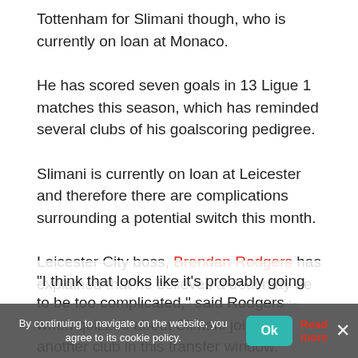Tottenham for Slimani though, who is currently on loan at Monaco.
He has scored seven goals in 13 Ligue 1 matches this season, which has reminded several clubs of his goalscoring pedigree.
Slimani is currently on loan at Leicester and therefore there are complications surrounding a potential switch this month.
Leicester City boss, Brendan Rodgers has explained that he believes a deal may be too complicated, something Solskjaer's side would need to untangle.
"I think that looks like it's probably going to be too complicated," said Rodgers when quizzed about Slimani joining another club in this transfer window.
By continuing to navigate on the website, you agree to its cookie policy.